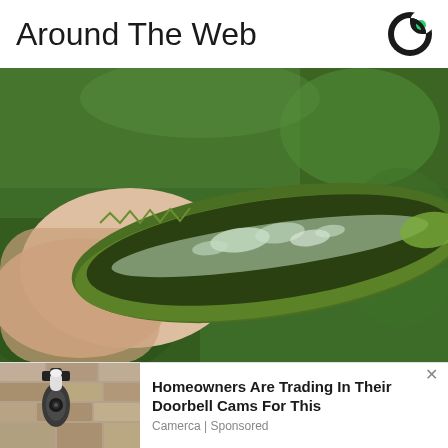Around The Web
[Figure (logo): Outbrain logo - circular icon with green and dark segments]
[Figure (photo): A hand holding an open aloe vera leaf showing the clear gel inside, with a green blurred garden background]
[Figure (photo): Outdoor security camera/doorbell mounted on a stone wall]
Homeowners Are Trading In Their Doorbell Cams For This
Camerca | Sponsored